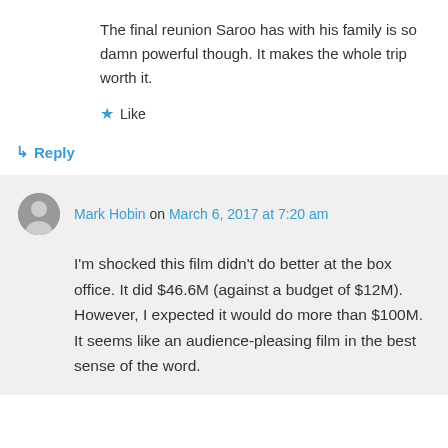The final reunion Saroo has with his family is so damn powerful though. It makes the whole trip worth it.
★ Like
↳ Reply
Mark Hobin on March 6, 2017 at 7:20 am
I'm shocked this film didn't do better at the box office. It did $46.6M (against a budget of $12M). However, I expected it would do more than $100M. It seems like an audience-pleasing film in the best sense of the word.